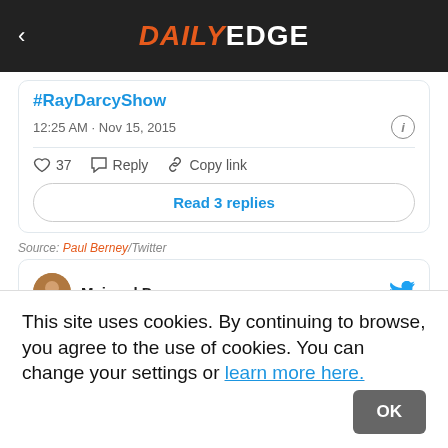DAILY EDGE
#RayDarcyShow
12:25 AM · Nov 15, 2015
37   Reply   Copy link
Read 3 replies
Source: Paul Berney/Twitter
Mairead D
This site uses cookies. By continuing to browse, you agree to the use of cookies. You can change your settings or learn more here.